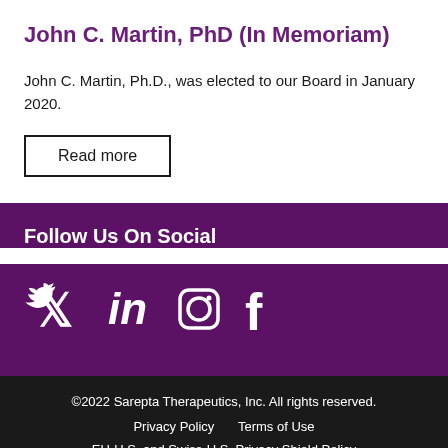John C. Martin, PhD (In Memoriam)
John C. Martin, Ph.D., was elected to our Board in January 2020.
Read more
Follow Us On Social
[Figure (infographic): Social media icons: Twitter, LinkedIn, Instagram, Facebook]
©2022 Sarepta Therapeutics, Inc. All rights reserved. Privacy Policy  Terms of Use  EU-U.S. and Swiss-U.S. Privacy Shield Policy